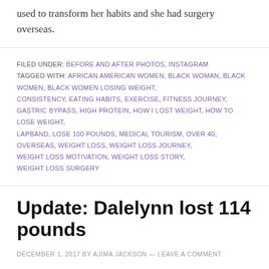used to transform her habits and she had surgery overseas.
FILED UNDER: BEFORE AND AFTER PHOTOS, INSTAGRAM TAGGED WITH: AFRICAN AMERICAN WOMEN, BLACK WOMAN, BLACK WOMEN, BLACK WOMEN LOSING WEIGHT, CONSISTENCY, EATING HABITS, EXERCISE, FITNESS JOURNEY, GASTRIC BYPASS, HIGH PROTEIN, HOW I LOST WEIGHT, HOW TO LOSE WEIGHT, LAPBAND, LOSE 100 POUNDS, MEDICAL TOURISM, OVER 40, OVERSEAS, WEIGHT LOSS, WEIGHT LOSS JOURNEY, WEIGHT LOSS MOTIVATION, WEIGHT LOSS STORY, WEIGHT LOSS SURGERY
Update: Dalelynn lost 114 pounds
DECEMBER 1, 2017 BY AJIMA JACKSON — LEAVE A COMMENT